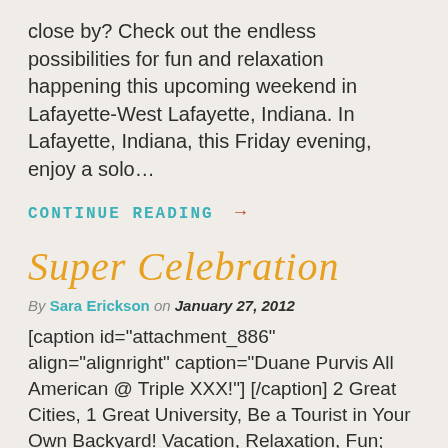close by? Check out the endless possibilities for fun and relaxation happening this upcoming weekend in Lafayette-West Lafayette, Indiana. In Lafayette, Indiana, this Friday evening, enjoy a solo…
CONTINUE READING →
Super Celebration
By Sara Erickson on January 27, 2012
[caption id="attachment_886" align="alignright" caption="Duane Purvis All American @ Triple XXX!"] [/caption] 2 Great Cities, 1 Great University, Be a Tourist in Your Own Backyard! Vacation, Relaxation, Fun; one image that comes into our heads is sand, sun and water. Locals travel south to find their…